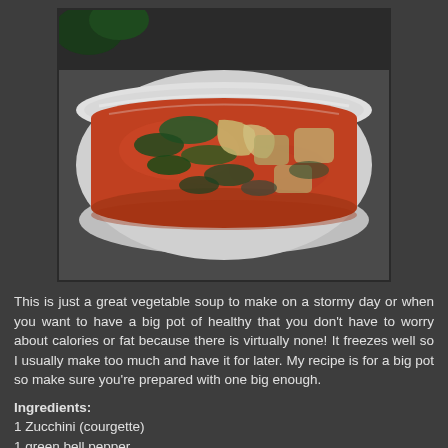[Figure (photo): A white ceramic bowl filled with vegetable soup in a reddish tomato broth, containing zucchini, green peppers, mushrooms, and other vegetables, photographed on a dark surface.]
This is just a great vegetable soup to make on a stormy day or when you want to have a big pot of healthy that you don't have to worry about calories or fat because there is virtually none! It freezes well so I usually make too much and have it for later. My recipe is for a big pot so make sure you're prepared with one big enough.
Ingredients:
1 Zucchini (courgette)
1 green bell pepper